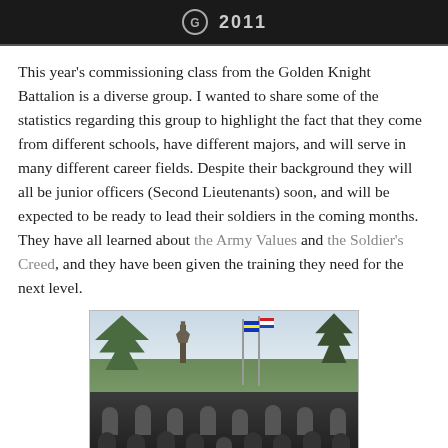2011
This year's commissioning class from the Golden Knight Battalion is a diverse group. I wanted to share some of the statistics regarding this group to highlight the fact that they come from different schools, have different majors, and will serve in many different career fields. Despite their background they will all be junior officers (Second Lieutenants) soon, and will be expected to be ready to lead their soldiers in the coming months. They have all learned about the Army Values and the Soldier's Creed, and they have been given the training they need for the next level.
[Figure (photo): Group photo of military cadets in dress uniforms standing outdoors in front of flags and trees, with a statue visible in the background.]